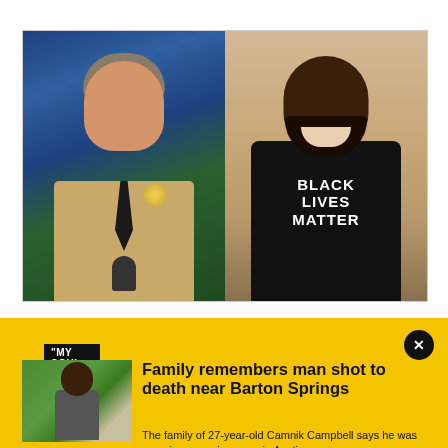[Figure (photo): Split image: left side shows a sheriff in tan uniform at a podium with microphone, in front of blue and green flags; right side shows a Black man laughing/smiling wearing a black long-sleeve shirt with 'BLACK LIVES MATTER' text.]
"MY SOUL IS EMPTY"
Family remembers man shot to death near Barton Springs
The family of 27-year-old Camnik Campbell says he was pursuing a music career in Austin.